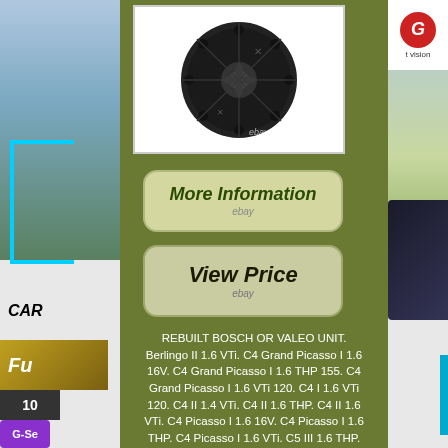[Figure (photo): Product photo of a rebuilt alternator/motor unit (black, circular) on white background with eBay watermark]
[Figure (other): More Information button with eBay branding on olive green background]
[Figure (other): View Price button with eBay branding on olive green background]
REBUILT BOSCH OR VALEO UNIT. Berlingo II 1.6 VTi. C4 Grand Picasso I 1.6 16V. C4 Grand Picasso I 1.6 THP 155. C4 Grand Picasso I 1.6 VTi 120. C4 I 1.6 VTi 120. C4 II 1.4 VTi. C4 II 1.6 THP. C4 II 1.6 VTi. C4 Picasso I 1.6 16V. C4 Picasso I 1.6 THP. C4 Picasso I 1.6 VTi. C5 III 1.6 THP. DS3 1.6 Vti 120. DS4 1.6 VTi 120. DS5 1.6 THP 200. Cooper S 1.6 Clubman. Cooper S